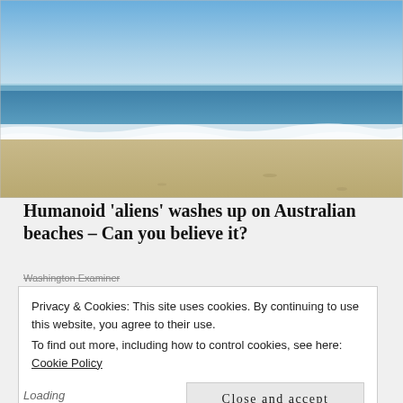[Figure (photo): A beach scene with waves washing onto a sandy shore under a blue sky. White foam visible at the water's edge.]
Humanoid 'aliens' washes up on Australian beaches – Can you believe it?
Washington Examiner
Privacy & Cookies: This site uses cookies. By continuing to use this website, you agree to their use.
To find out more, including how to control cookies, see here: Cookie Policy
Close and accept
Loading